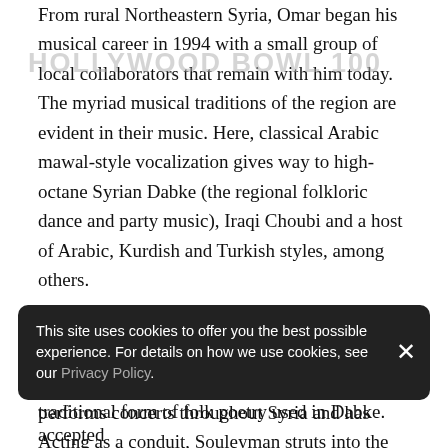From rural Northeastern Syria, Omar began his musical career in 1994 with a small group of local collaborators that remain with him today. The myriad musical traditions of the region are evident in their music. Here, classical Arabic mawal-style vocalization gives way to high-octane Syrian Dabke (the regional folkloric dance and party music), Iraqi Choubi and a host of Arabic, Kurdish and Turkish styles, among others.

This amalgamation is truly the sound of Syria.

Together, they commonly perform the Ataba, a traditional form of folk poetry used in Dabke. Acting as a conduit, Souleyman struts into the audience with urgency, vocalizing the prose in song before returning for the next verse. Souleyman's first hit in Syria was "Jani" (1996) which
[Figure (other): Hollywood Bowl 100 watermark overlaid on text]
This site uses cookies to offer you the best possible experience. For details on how we use cookies, see our Privacy Policy.
performs concerts throughout Syria and has accepted